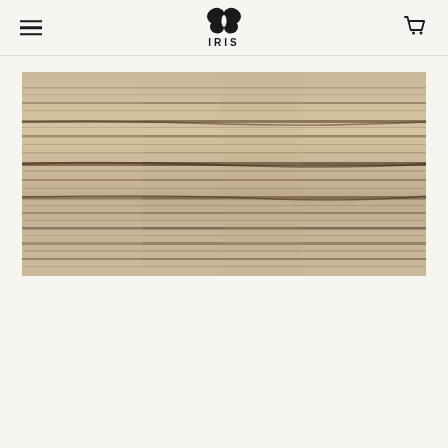IRIS — navigation header with menu icon, IRIS butterfly logo, and cart icon
[Figure (photo): Close-up photograph of a wood grain texture surface, showing horizontal streaks of beige, tan, and dark brown grain lines on weathered or aged wood]